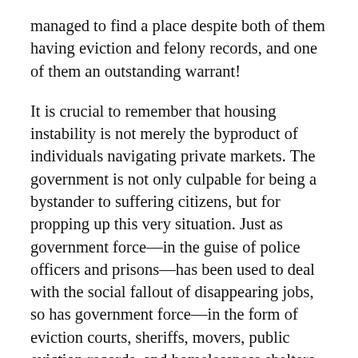managed to find a place despite both of them having eviction and felony records, and one of them an outstanding warrant!
It is crucial to remember that housing instability is not merely the byproduct of individuals navigating private markets. The government is not only culpable for being a bystander to suffering citizens, but for propping up this very situation. Just as government force—in the guise of police officers and prisons—has been used to deal with the social fallout of disappearing jobs, so has government force—in the form of eviction courts, sheriffs, movers, public eviction records, and homelessness shelters—been used to deal with the disappearance of affordable housing. Without this